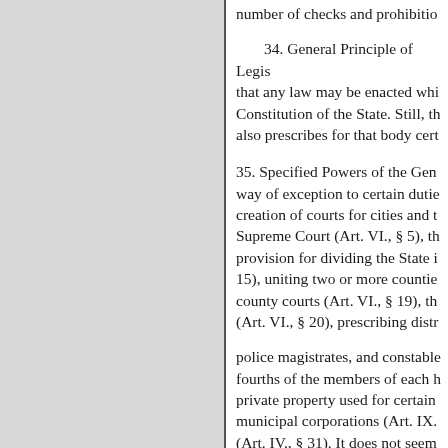number of checks and prohibitio
34. General Principle of Legis that any law may be enacted whi Constitution of the State. Still, th also prescribes for that body cert
35. Specified Powers of the Gen way of exception to certain dutie creation of courts for cities and t Supreme Court (Art. VI., § 5), th provision for dividing the State i 15), uniting two or more countie county courts (Art. VI., § 19), th (Art. VI., § 20), prescribing distr
police magistrates, and constable fourths of the members of each h private property used for certain municipal corporations (Art. IX. (Art. IV., § 31). It does not seem doubtless so that there can be no
36. Specified Duties of the Gene prescribed.